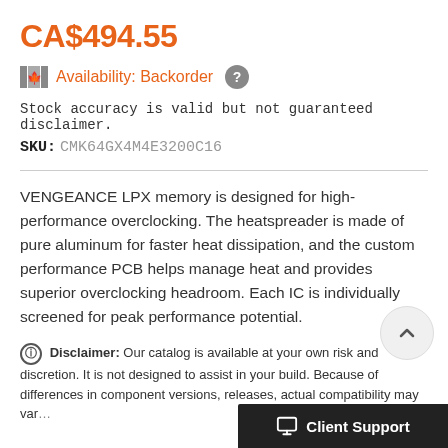CA$494.55
Availability: Backorder
Stock accuracy is valid but not guaranteed disclaimer.
SKU: CMK64GX4M4E3200C16
VENGEANCE LPX memory is designed for high-performance overclocking. The heatspreader is made of pure aluminum for faster heat dissipation, and the custom performance PCB helps manage heat and provides superior overclocking headroom. Each IC is individually screened for peak performance potential.
Disclaimer: Our catalog is available at your own risk and discretion. It is not designed to assist in your build. Because of differences in component versions, re... releases, actual compatibility may var...